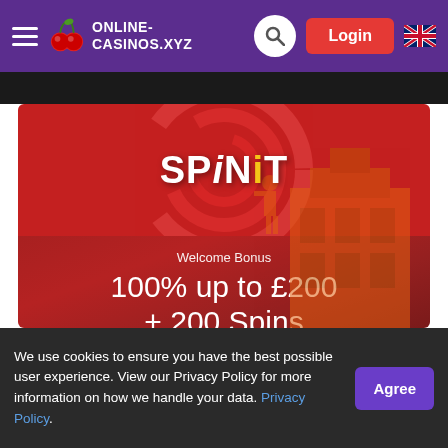ONLINE-CASINOS.xyz
[Figure (screenshot): SpinIt casino welcome bonus banner showing 100% up to £200 + 200 Spins offer]
Welcome Bonus
100% up to £200 + 200 Spins
40x Bonus Amount. 40x Spins Winnings. 18+ Only. Terms Apply. BeGambleAware.
We use cookies to ensure you have the best possible user experience. View our Privacy Policy for more information on how we handle your data. Privacy Policy.